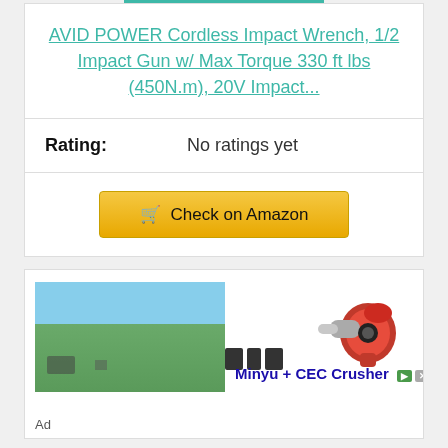AVID POWER Cordless Impact Wrench, 1/2 Impact Gun w/ Max Torque 330 ft lbs (450N.m), 20V Impact...
| Rating: | No ratings yet |
| --- | --- |
[Figure (screenshot): Check on Amazon button with shopping cart icon, gold/yellow background]
[Figure (screenshot): Advertisement showing an impact wrench product image and a Minyu + CEC Crusher ad with a landscape photo]